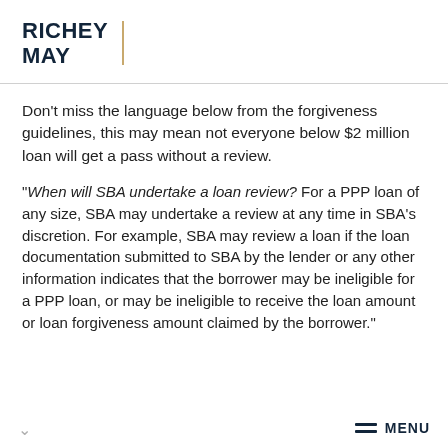[Figure (logo): Richey May logo — bold dark navy text 'RICHEY MAY' with a vertical gold/tan divider line]
Don't miss the language below from the forgiveness guidelines, this may mean not everyone below $2 million loan will get a pass without a review.
"When will SBA undertake a loan review? For a PPP loan of any size, SBA may undertake a review at any time in SBA's discretion. For example, SBA may review a loan if the loan documentation submitted to SBA by the lender or any other information indicates that the borrower may be ineligible for a PPP loan, or may be ineligible to receive the loan amount or loan forgiveness amount claimed by the borrower."
MENU